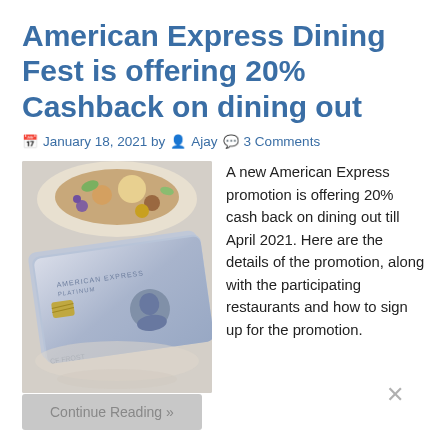American Express Dining Fest is offering 20% Cashback on dining out
January 18, 2021 by Ajay 3 Comments
[Figure (photo): Photo of an American Express Platinum credit card on a plate with food in the background]
A new American Express promotion is offering 20% cash back on dining out till April 2021. Here are the details of the promotion, along with the participating restaurants and how to sign up for the promotion.
Continue Reading »